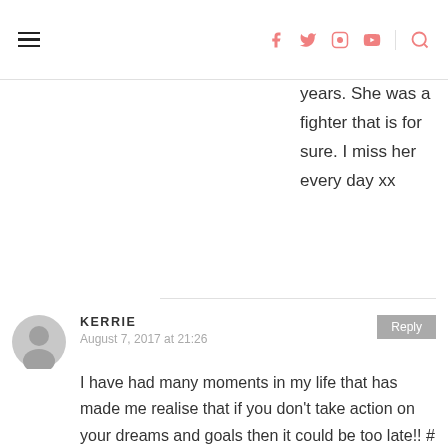Navigation header with hamburger menu, social icons (Facebook, Twitter, Instagram, YouTube), and search icon
years. She was a fighter that is for sure. I miss her every day xx
KERRIE
August 7, 2017 at 21:26
I have had many moments in my life that has made me realise that if you don't take action on your dreams and goals then it could be too late!! #